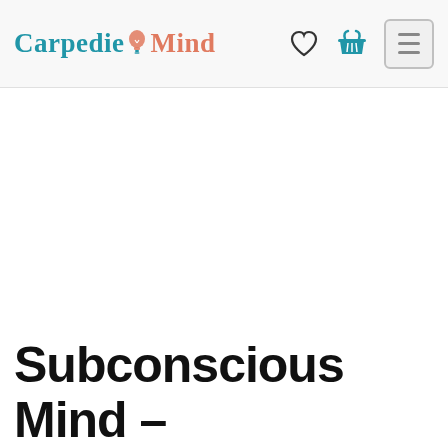Carpedie Mind — navigation header with heart icon, shopping basket icon, and hamburger menu button
Subconscious Mind –